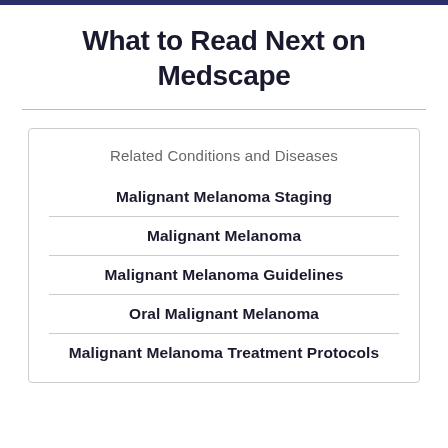What to Read Next on Medscape
Related Conditions and Diseases
Malignant Melanoma Staging
Malignant Melanoma
Malignant Melanoma Guidelines
Oral Malignant Melanoma
Malignant Melanoma Treatment Protocols